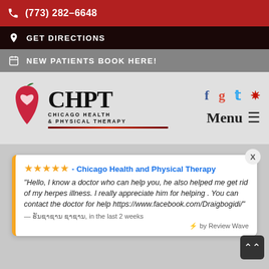(773) 282-6648
GET DIRECTIONS
NEW PATIENTS BOOK HERE!
[Figure (logo): CHPT Chicago Health & Physical Therapy logo with apple/heart icon]
★★★★★ - Chicago Health and Physical Therapy
"Hello, I know a doctor who can help you, he also helped me get rid of my herpes illness. I really appreciate him for helping . You can contact the doctor for help https://www.facebook.com/Draigbogidi/"
— ຮັນຊາຊານ ຊາຊານ, in the last 2 weeks
⚡ by Review Wave